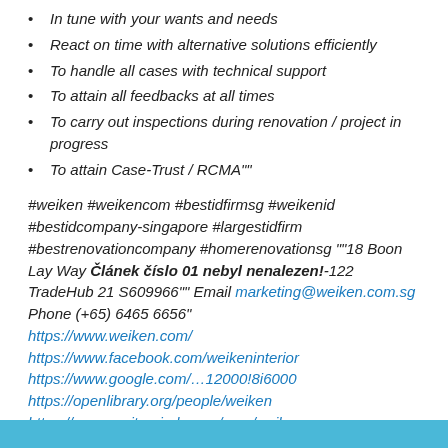In tune with your wants and needs
React on time with alternative solutions efficiently
To handle all cases with technical support
To attain all feedbacks at all times
To carry out inspections during renovation / project in progress
To attain Case-Trust / RCMA""
#weiken #weikencom #bestidfirmsg #weikenid #bestidcompany-singapore #largestidfirm #bestrenovationcompany #homerenovationsg ""18 Boon Lay Way Článek číslo 01 nebyl nenalezen!-122 TradeHub 21 S609966"" Email marketing@weiken.com.sg Phone (+65) 6465 6656" https://www.weiken.com/ https://www.facebook.com/weikeninterior https://www.google.com/…12000!8i6000 https://openlibrary.org/people/weiken https://community.windy.com/user/weiken https://www.speedrun.com/user/weiken https://dogforum.co.uk/…iken.103421/